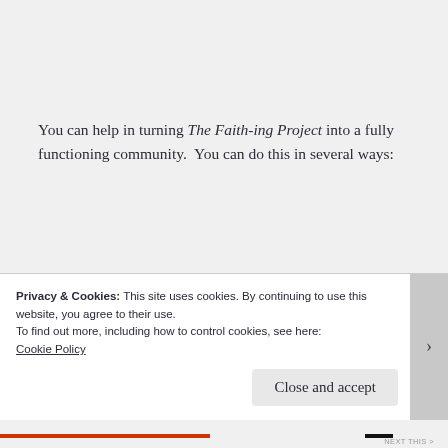You can help in turning The Faith-ing Project into a fully functioning community.  You can do this in several ways:
Share your thoughts, feelings, and criticism below in the comments.
email otherjeffcampbell7@gmail.com to share
Privacy & Cookies: This site uses cookies. By continuing to use this website, you agree to their use.
To find out more, including how to control cookies, see here:
Cookie Policy
Close and accept